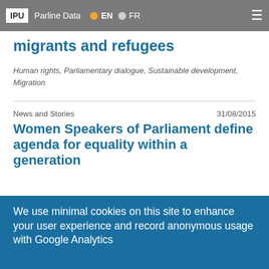IPU | Parline Data | EN | FR
migrants and refugees
Human rights, Parliamentary dialogue, Sustainable development, Migration
News and Stories  31/08/2015
Women Speakers of Parliament define agenda for equality within a generation
United States of America
Gender equality
News and Stories  27/03/2015
Use collective power of MPs for gender
We use minimal cookies on this site to enhance your user experience and record anonymous usage with Google Analytics